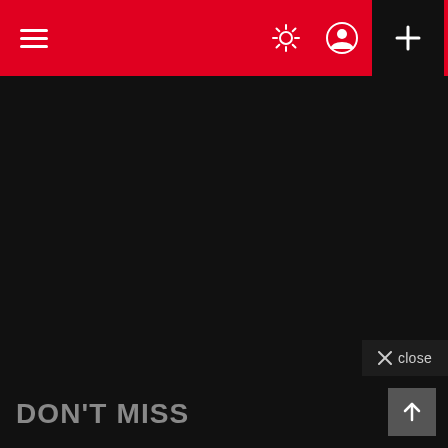≡ [dark mode icon] [user icon] +
[Figure (screenshot): Dark background content area with close button overlay]
✕ close
DON'T MISS